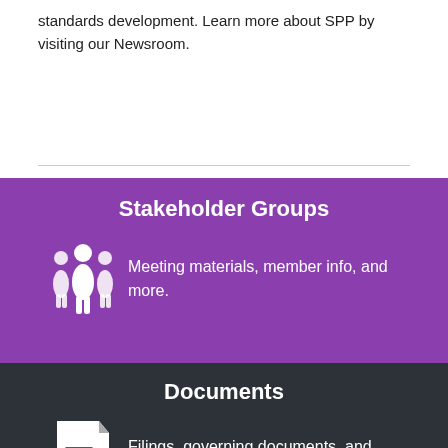standards development. Learn more about SPP by visiting our Newsroom.
Stakeholder Groups
Meeting materials, member info, and more.
Documents
Filings, governing documents, and other resources.